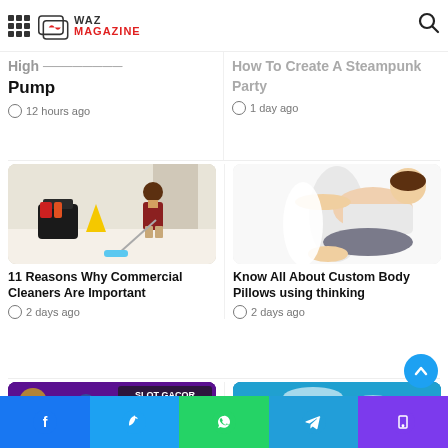WAZ MAGAZINE
Pump
12 hours ago
How To Create A Steampunk Party
1 day ago
[Figure (photo): Janitor mopping floor with commercial cleaning equipment including black mop bucket and yellow wet floor sign]
11 Reasons Why Commercial Cleaners Are Important
2 days ago
[Figure (photo): Person lying on white bed hugging a large body pillow]
Know All About Custom Body Pillows using thinking
2 days ago
[Figure (photo): Slot machine game screenshot with text SLOT GACOR HARI INI Omi777]
[Figure (photo): Person on urban rooftop or stairs against blue sky background]
Facebook | Twitter | WhatsApp | Telegram | Phone